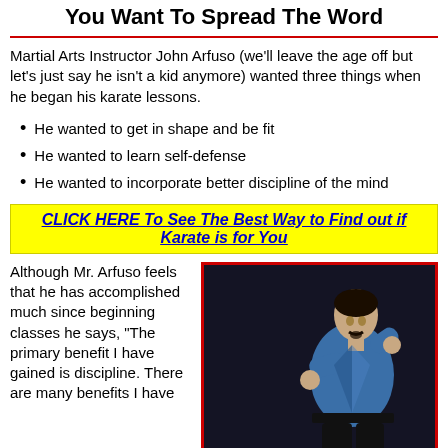You Want To Spread The Word
Martial Arts Instructor John Arfuso (we'll leave the age off but let's just say he isn't a kid anymore) wanted three things when he began his karate lessons.
He wanted to get in shape and be fit
He wanted to learn self-defense
He wanted to incorporate better discipline of the mind
CLICK HERE To See The Best Way to Find out if Karate is for You
Although Mr. Arfuso feels that he has accomplished much since beginning classes he says, “The primary benefit I have gained is discipline. There are many benefits I have
[Figure (photo): A man wearing a blue karate gi and black belt in a fighting stance against a dark background]